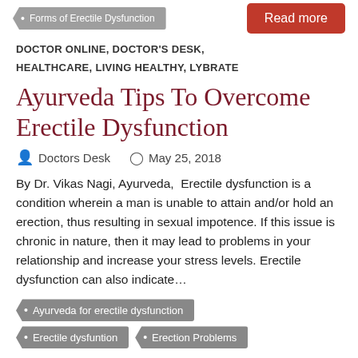Forms of Erectile Dysfunction
Read more
DOCTOR ONLINE, DOCTOR'S DESK, HEALTHCARE, LIVING HEALTHY, LYBRATE
Ayurveda Tips To Overcome Erectile Dysfunction
Doctors Desk   May 25, 2018
By Dr. Vikas Nagi, Ayurveda,  Erectile dysfunction is a condition wherein a man is unable to attain and/or hold an erection, thus resulting in sexual impotence. If this issue is chronic in nature, then it may lead to problems in your relationship and increase your stress levels. Erectile dysfunction can also indicate…
Ayurveda for erectile dysfunction
Erectile dysfuntion
Erection Problems